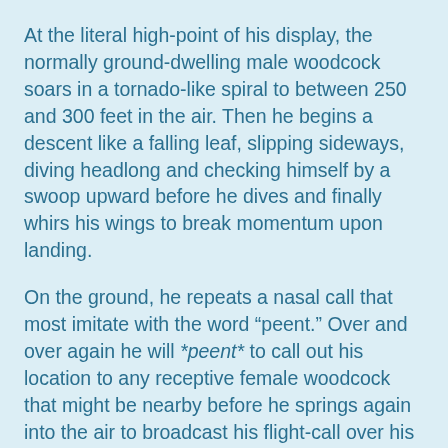At the literal high-point of his display, the normally ground-dwelling male woodcock soars in a tornado-like spiral to between 250 and 300 feet in the air. Then he begins a descent like a falling leaf, slipping sideways, diving headlong and checking himself by a swoop upward before he dives and finally whirs his wings to break momentum upon landing.
On the ground, he repeats a nasal call that most imitate with the word “peent.” Over and over again he will *peent* to call out his location to any receptive female woodcock that might be nearby before he springs again into the air to broadcast his flight-call over his territory once again.
Catching a glimpse of the bird at any other time is tricky. They are very well camouflaged in the brush where they hunt worms. They can be tricky to spot even during the spring display since it takes place